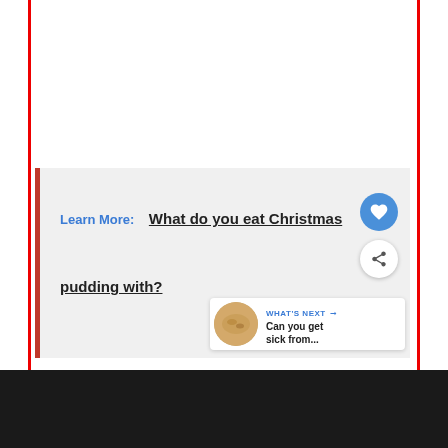[Figure (screenshot): A 'Learn More' card with blue label text, bold underlined link text reading 'What do you eat Christmas pudding with?', a blue heart button, a white share button, and a 'What's next' bar showing 'Can you get sick from...' with a food thumbnail image.]
Learn More:   What do you eat Christmas pudding with?
[Figure (screenshot): Orange advertisement banner: 'You can help hungry kids. NO KID HUNGRY LEARN HOW' with a close button, on a dark background bar.]